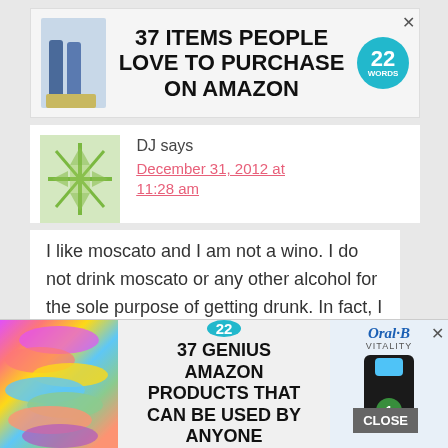[Figure (other): Advertisement banner: '37 ITEMS PEOPLE LOVE TO PURCHASE ON AMAZON' with product bottles image and 22 Words badge]
DJ says
December 31, 2012 at 11:28 am
I like moscato and I am not a wino. I do not drink moscato or any other alcohol for the sole purpose of getting drunk. In fact, I rarely drink any alcohol. I know other people who like moscato, and they are not winos either.
Reply
[Figure (other): Bottom advertisement: '37 GENIUS AMAZON PRODUCTS THAT CAN BE USED BY ANYONE' with colorful scrunchies image and Oral-B Vitality toothbrush ad]
CLOSE